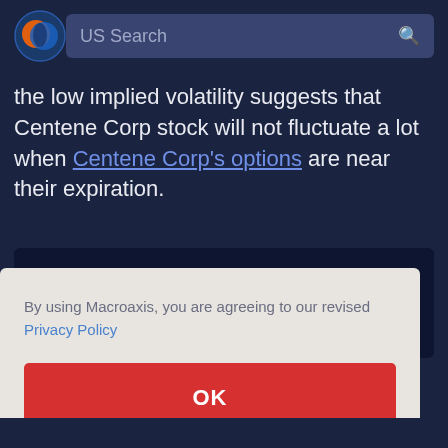US Search
the low implied volatility suggests that Centene Corp stock will not fluctuate a lot when Centene Corp's options are near their expiration.
[Figure (screenshot): Partial view of a dark-themed financial chart in the background, partially obscured by a cookie consent modal dialog.]
By using Macroaxis, you are agreeing to our revised Privacy Policy
OK